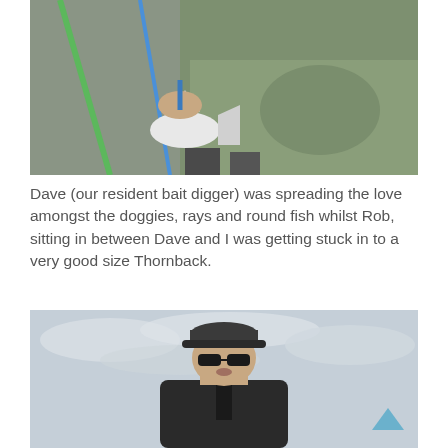[Figure (photo): Person holding a small shark or dogfish by a fishing line on a boat, wearing a green jacket. A green fishing rod is visible on the left.]
Dave (our resident bait digger) was spreading the love amongst the doggies, rays and round fish whilst Rob, sitting in between Dave and I was getting stuck in to a very good size Thornback.
[Figure (photo): Man wearing a dark cap and sunglasses, dressed in a dark jacket, standing outdoors with a cloudy sky in the background. A back-to-top arrow icon is visible in the lower right corner.]